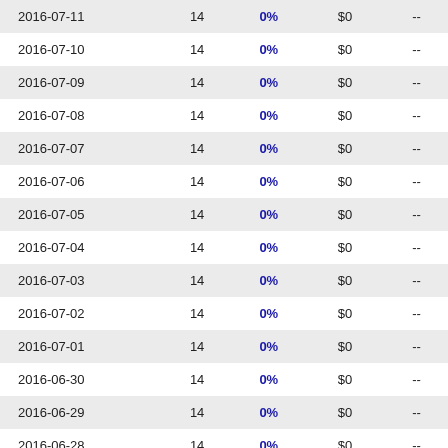| 2016-07-11 | 14 | 0% | $0 | -- |
| 2016-07-10 | 14 | 0% | $0 | -- |
| 2016-07-09 | 14 | 0% | $0 | -- |
| 2016-07-08 | 14 | 0% | $0 | -- |
| 2016-07-07 | 14 | 0% | $0 | -- |
| 2016-07-06 | 14 | 0% | $0 | -- |
| 2016-07-05 | 14 | 0% | $0 | -- |
| 2016-07-04 | 14 | 0% | $0 | -- |
| 2016-07-03 | 14 | 0% | $0 | -- |
| 2016-07-02 | 14 | 0% | $0 | -- |
| 2016-07-01 | 14 | 0% | $0 | -- |
| 2016-06-30 | 14 | 0% | $0 | -- |
| 2016-06-29 | 14 | 0% | $0 | -- |
| 2016-06-28 | 14 | 0% | $0 | -- |
| 2016-06-27 | 14 | 0% | $0 | -- |
| 2016-06-26 | 14 | 0% | $0 | -- |